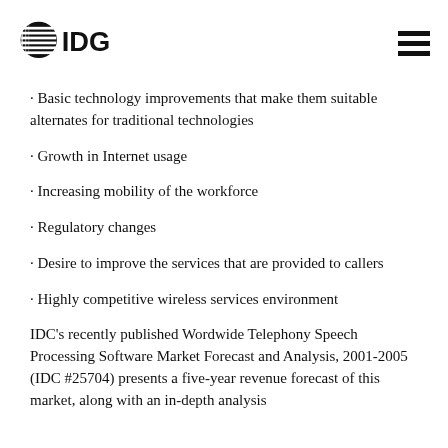IDG
Basic technology improvements that make them suitable alternates for traditional technologies
Growth in Internet usage
Increasing mobility of the workforce
Regulatory changes
Desire to improve the services that are provided to callers
Highly competitive wireless services environment
IDC's recently published Wordwide Telephony Speech Processing Software Market Forecast and Analysis, 2001-2005 (IDC #25704) presents a five-year revenue forecast of this market, along with an in-depth analysis